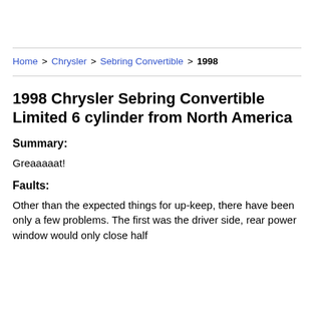Home > Chrysler > Sebring Convertible > 1998
1998 Chrysler Sebring Convertible Limited 6 cylinder from North America
Summary:
Greaaaaat!
Faults:
Other than the expected things for up-keep, there have been only a few problems. The first was the driver side, rear power window would only close half